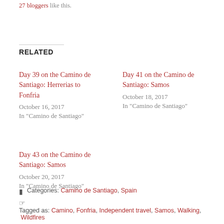27 bloggers like this.
RELATED
Day 39 on the Camino de Santiago: Herrerias to Fonfria
October 16, 2017
In "Camino de Santiago"
Day 41 on the Camino de Santiago: Samos
October 18, 2017
In "Camino de Santiago"
Day 43 on the Camino de Santiago: Samos
October 20, 2017
In "Camino de Santiago"
Categories: Camino de Santiago, Spain
Tagged as: Camino, Fonfria, Independent travel, Samos, Walking, Wildfires